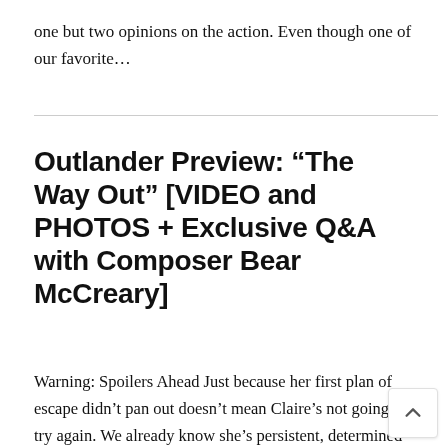one but two opinions on the action. Even though one of our favorite...
Outlander Preview: “The Way Out” [VIDEO and PHOTOS + Exclusive Q&A with Composer Bear McCreary]
Warning: Spoilers Ahead Just because her first plan of escape didn’t pan out doesn’t mean Claire’s not going to try again. We already know she’s persistent, determined and stubborn, so I think she’ll find another way to get away from the clan